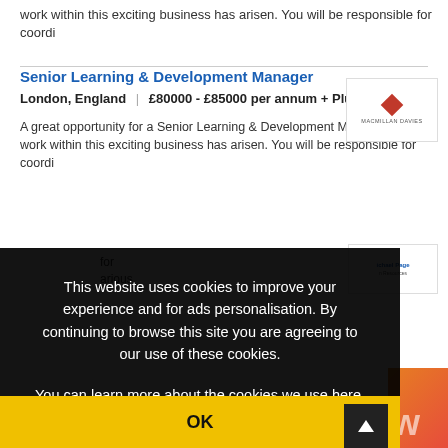work within this exciting business has arisen. You will be responsible for coordi
Senior Learning & Development Manager
London, England | £80000 - £85000 per annum + Plus benefits
A great opportunity for a Senior Learning & Development Manager to work within this exciting business has arisen. You will be responsible for coordi
[Figure (logo): Macmillan Davies company logo with red diamond shape]
[Figure (logo): Michael Page Human Resources company logo]
This website uses cookies to improve your experience and for ads personalisation. By continuing to browse this site you are agreeing to our use of these cookies.
You can learn more about the cookies we use here.
OK
[Figure (logo): Orange/red partial logo at bottom right corner]